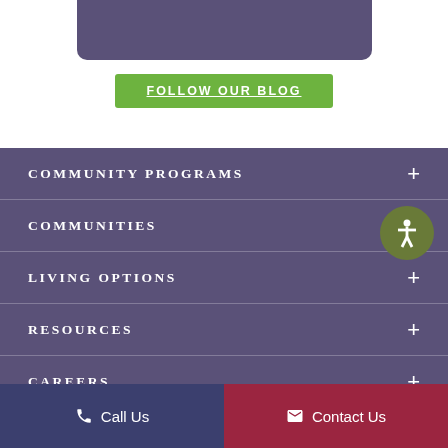[Figure (screenshot): Top white section with a purple card at the top and a green 'FOLLOW OUR BLOG' button below it]
COMMUNITY PROGRAMS
COMMUNITIES
LIVING OPTIONS
RESOURCES
CAREERS
Call Us
Contact Us